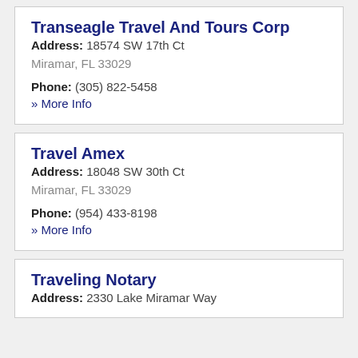Transeagle Travel And Tours Corp
Address: 18574 SW 17th Ct
Miramar, FL 33029
Phone: (305) 822-5458
» More Info
Travel Amex
Address: 18048 SW 30th Ct
Miramar, FL 33029
Phone: (954) 433-8198
» More Info
Traveling Notary
Address: 2330 Lake Miramar Way